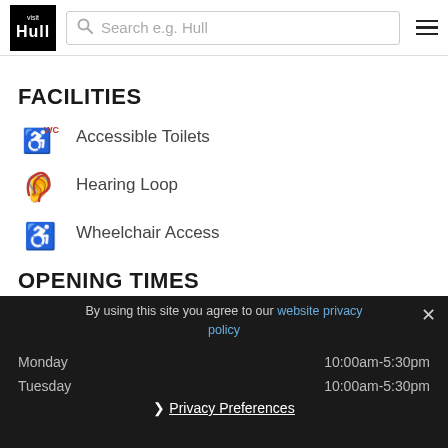Visit Hull — Search bar and navigation
FACILITIES
Accessible Toilets
Hearing Loop
Wheelchair Access
OPENING TIMES
| Day | Hours |
| --- | --- |
| Monday | 10:00am-5:30pm |
| Tuesday | 10:00am-5:30pm |
By using this site you agree to our website privacy policy
Privacy Preferences